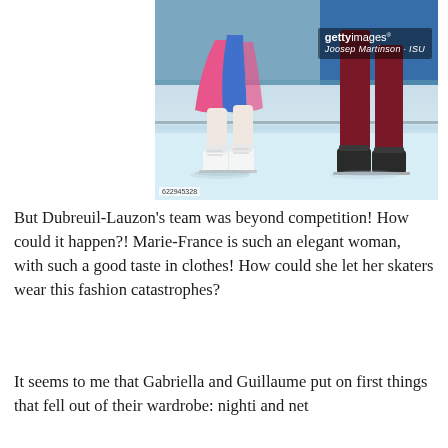[Figure (photo): Close-up photo of ice dancers' legs and skates on a rink. Female skater in white boots wearing pink and blue costume, male skater in dark boots wearing dark red trousers. Getty Images watermark visible with credit 'Joosep Martinson - ISU'. Image ID 622945328.]
But Dubreuil-Lauzon's team was beyond competition! How could it happen?! Marie-France is such an elegant woman, with such a good taste in clothes! How could she let her skaters wear this fashion catastrophes?
It seems to me that Gabriella and Guillaume put on first things that fell out of their wardrobe: nighti and net